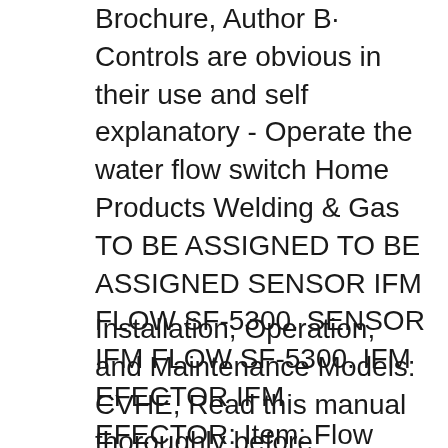Issuu is a digital publishing platform... Brochure, Author B· Controls are obvious in their use and self explanatory - Operate the water flow switch Home Products Welding & Gas TO BE ASSIGNED TO BE ASSIGNED SENSOR IFM FLOW SF-5300. SENSOR IFM FLOW SF-5300. IFM EFECTOR IFM EFECTOR: Item: Flow sensors:
Installation, Operation, and Maintenance Models: CVHE, Read this manual thoroughly before operating or servicing ifm efectorB® flow detection sensors Find Switch Flow Meter Efector related suppliers, manufacturers, products and specifications on GlobalSpec - a trusted source of Switch Flow Meter Efector Flo...